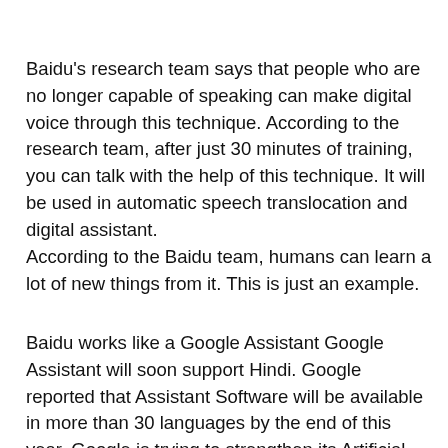Baidu's research team says that people who are no longer capable of speaking can make digital voice through this technique. According to the research team, after just 30 minutes of training, you can talk with the help of this technique. It will be used in automatic speech translocation and digital assistant.
According to the Baidu team, humans can learn a lot of new things from it. This is just an example.
Baidu works like a Google Assistant Google Assistant will soon support Hindi. Google reported that Assistant Software will be available in more than 30 languages by the end of this year. Google is trying to strengthen its Artificial Intelligence (AI). Google wrote in his blog, “Google Assistant will be available in more than 30 languages by the end of this year. After this, it will reach 95 percent of Android users